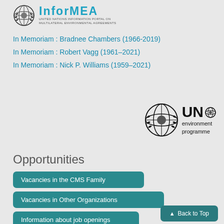[Figure (logo): InforMEA logo - UN globe icon with text InforMEA and United Nations Information Portal on Multilateral Environmental Agreements]
In Memoriam : Bradnee Chambers (1966-2019)
In Memoriam : Robert Vagg (1961–2021)
In Memoriam : Nick P. Williams (1959–2021)
[Figure (logo): UN Environment Programme logo - large UN globe icon with text UN environment programme]
Opportunities
Vacancies in the CMS Family
Vacancies in Other Organizations
Information about job openings
Back to Top